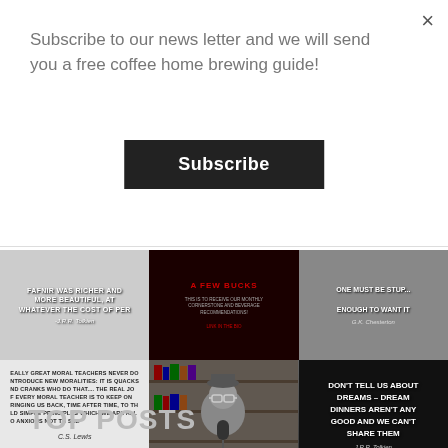×
Subscribe to our news letter and we will send you a free coffee home brewing guide!
Subscribe
[Figure (screenshot): Grid of 6 image thumbnails in 2 rows of 3. Top row: quote image with J.R.R. Tolkien text about Fafnir, dark promotional image with text, quote image with G.K. Chesterton text about wanting things. Bottom row: white/grey quote image with C.S. Lewis moral teachers quote, thumbnail of a man speaking into a microphone in front of bookshelves, dark image with J.R.R. Tolkien quote about dreams and dinners.]
TOP POSTS